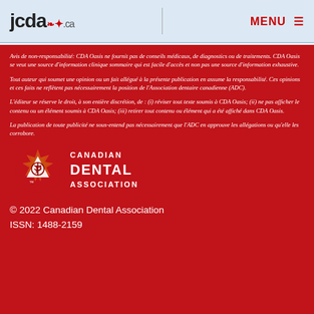jcda.ca MENU
Avis de non-responsabilité: CDA Oasis ne fournit pas de conseils médicaux, de diagnostics ou de traitements. CDA Oasis se veut une source d'information clinique sommaire qui est facile d'accès et non pas une source d'information exhaustive.
Tout auteur qui soumet une opinion ou un fait allégué à la présente publication en assume la responsabilité. Ces opinions et ces faits ne reflètent pas nécessairement la position de l'Association dentaire canadienne (ADC).
L'éditeur se réserve le droit, à son entière discrétion, de : (i) réviser tout texte soumis à CDA Oasis; (ii) ne pas afficher le contenu ou un élément soumis à CDA Oasis; (iii) retirer tout contenu ou élément qui a été affiché dans CDA Oasis.
La publication de toute publicité ne sous-entend pas nécessairement que l'ADC en approuve les allégations ou qu'elle les corrobore.
[Figure (logo): Canadian Dental Association logo — maple leaf with CDA emblem and text 'Canadian Dental Association']
© 2022 Canadian Dental Association
ISSN: 1488-2159